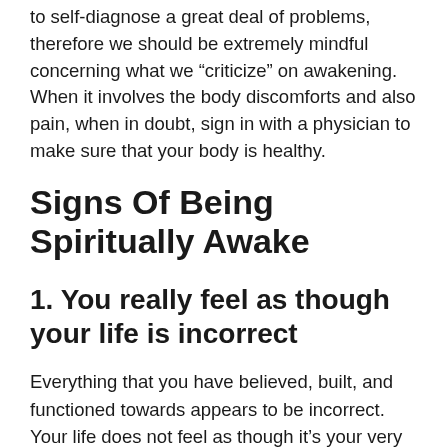to self-diagnose a great deal of problems, therefore we should be extremely mindful concerning what we “criticize” on awakening. When it involves the body discomforts and also pain, when in doubt, sign in with a physician to make sure that your body is healthy.
Signs Of Being Spiritually Awake
1. You really feel as though your life is incorrect
Everything that you have believed, built, and functioned towards appears to be incorrect. Your life does not feel as though it’s your very own. You no longer feel like yourself.